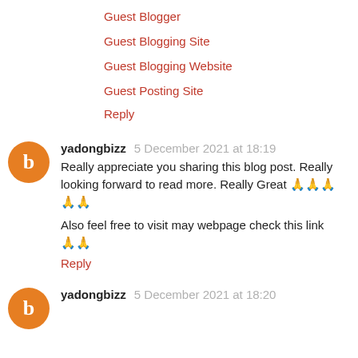Guest Blogger
Guest Blogging Site
Guest Blogging Website
Guest Posting Site
Reply
yadongbizz 5 December 2021 at 18:19
Really appreciate you sharing this blog post. Really looking forward to read more. Really Great 🙏🙏🙏🙏🙏
Also feel free to visit may webpage check this link 🙏🙏
Reply
yadongbizz 5 December 2021 at 18:20